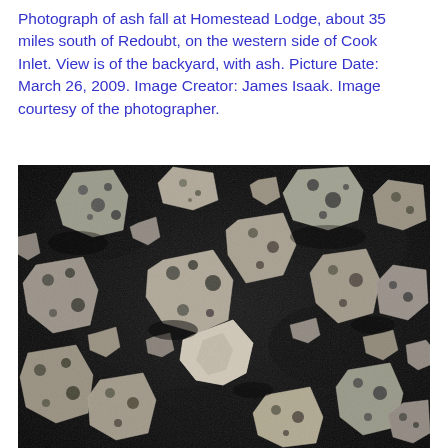Photograph of ash fall at Homestead Lodge, about 35 miles south of Redoubt, on the western side of Cook Inlet. View is of the backyard, with ash. Picture Date: March 26, 2009. Image Creator: James Isaak. Image courtesy of the photographer.
[Figure (photo): Scanning electron microscope (SEM) black and white image of volcanic ash particles from Redoubt volcano. The particles are irregularly shaped, porous, and angular fragments of various sizes scattered on a dark background.]